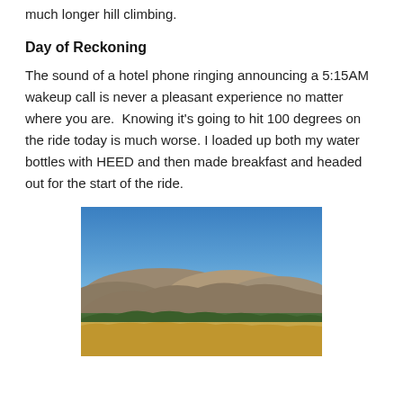much longer hill climbing.
Day of Reckoning
The sound of a hotel phone ringing announcing a 5:15AM wakeup call is never a pleasant experience no matter where you are.  Knowing it's going to hit 100 degrees on the ride today is much worse. I loaded up both my water bottles with HEED and then made breakfast and headed out for the start of the ride.
[Figure (photo): Landscape photo showing golden dry grass in foreground, green trees in middle ground, rolling hills/mountains in background, and a clear blue sky above.]